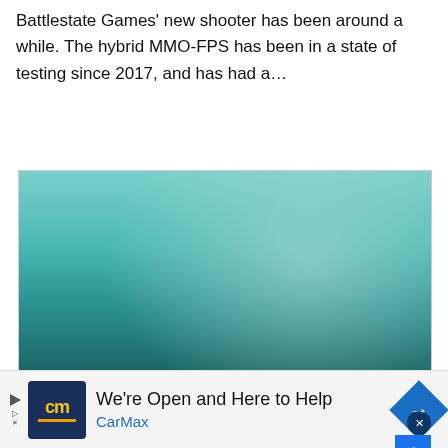Battlestate Games' new shooter has been around a while. The hybrid MMO-FPS has been in a state of testing since 2017, and has had a...
[Figure (illustration): Call of Duty Warzone Rebirth Island promotional image showing three soldiers/operators walking forward with helicopters in the background against a teal-colored sky. Large bold text reads CALL OF DUTY WARZONE and REBIRTH ISLAND.]
We're Open and Here to Help CarMax